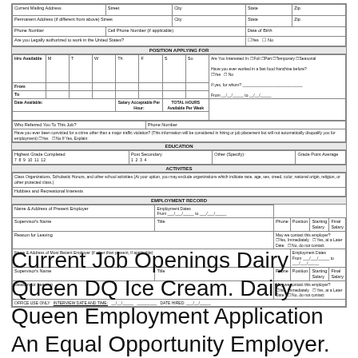[Figure (other): Job application form showing sections: Current Mailing Address, Permanent Address, Phone, Position Applying For, Education, Activities, Employment Record, and Office Use Only fields.]
Current Job Openings Dairy Queen DQ Ice Cream. Dairy Queen Employment Application An Equal Opportunity Employer. It is our policy to comply with...